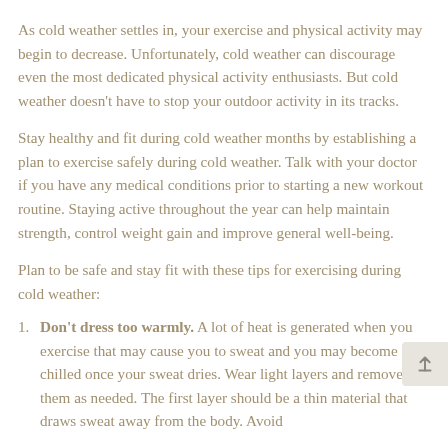As cold weather settles in, your exercise and physical activity may begin to decrease. Unfortunately, cold weather can discourage even the most dedicated physical activity enthusiasts. But cold weather doesn’t have to stop your outdoor activity in its tracks.
Stay healthy and fit during cold weather months by establishing a plan to exercise safely during cold weather. Talk with your doctor if you have any medical conditions prior to starting a new workout routine. Staying active throughout the year can help maintain strength, control weight gain and improve general well-being.
Plan to be safe and stay fit with these tips for exercising during cold weather:
Don’t dress too warmly. A lot of heat is generated when you exercise that may cause you to sweat and you may become chilled once your sweat dries. Wear light layers and remove them as needed. The first layer should be a thin material that draws sweat away from the body. Avoid